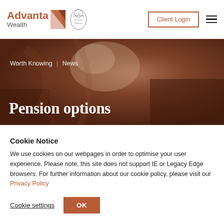Advanta Wealth | Client Login
[Figure (photo): Dark reddish-brown textured background hero banner with breadcrumb and page title]
Worth Knowing | News
Pension options
Cookie Notice
We use cookies on our webpages in order to optimise your user experience. Please note, this site does not support IE or Legacy Edge browsers. For further information about our cookie policy, please visit our Privacy Policy
Cookie settings | OK